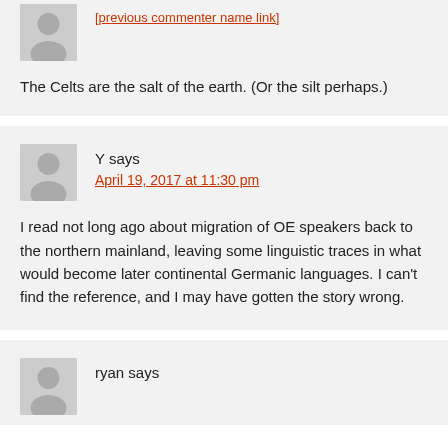The Celts are the salt of the earth. (Or the silt perhaps.)
Y says
April 19, 2017 at 11:30 pm
I read not long ago about migration of OE speakers back to the northern mainland, leaving some linguistic traces in what would become later continental Germanic languages. I can't find the reference, and I may have gotten the story wrong.
ryan says